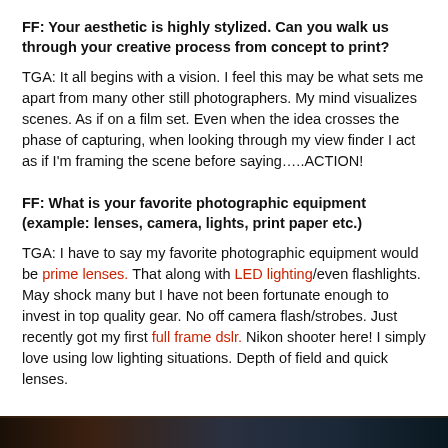FF: Your aesthetic is highly stylized. Can you walk us through your creative process from concept to print?
TGA: It all begins with a vision. I feel this may be what sets me apart from many other still photographers. My mind visualizes scenes. As if on a film set. Even when the idea crosses the phase of capturing, when looking through my view finder I act as if I'm framing the scene before saying.....ACTION!
FF: What is your favorite photographic equipment (example: lenses, camera, lights, print paper etc.)
TGA: I have to say my favorite photographic equipment would be prime lenses. That along with LED lighting/even flashlights. May shock many but I have not been fortunate enough to invest in top quality gear. No off camera flash/strobes. Just recently got my first full frame dslr. Nikon shooter here! I simply love using low lighting situations. Depth of field and quick lenses.
[Figure (photo): Dark photo strip at the bottom of the page showing a dimly lit scene]